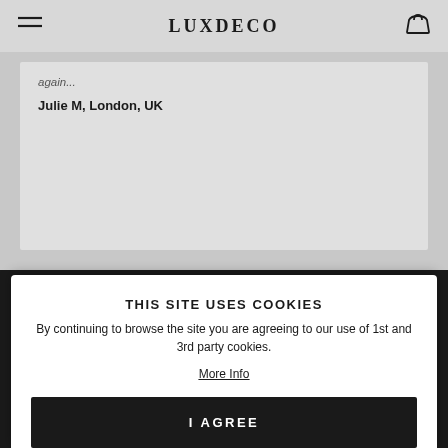LUXDECO
again...
Julie M, London, UK
THIS SITE USES COOKIES
By continuing to browse the site you are agreeing to our use of 1st and 3rd party cookies.
More Info
I AGREE